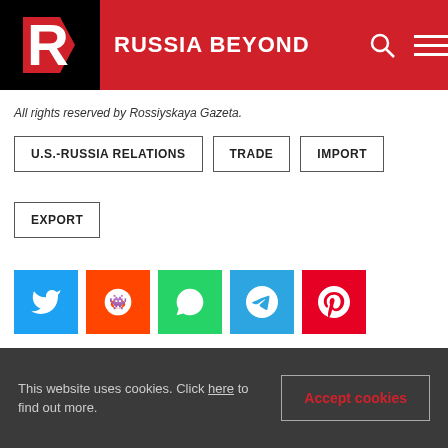RUSSIA BEYOND
All rights reserved by Rossiyskaya Gazeta.
U.S.-RUSSIA RELATIONS
TRADE
IMPORT
EXPORT
[Figure (infographic): Social share buttons: Twitter (blue), Reddit (orange), WhatsApp (green), Telegram (blue), Pinterest (red)]
Subscribe
to our newsletter!
This website uses cookies. Click here to find out more.